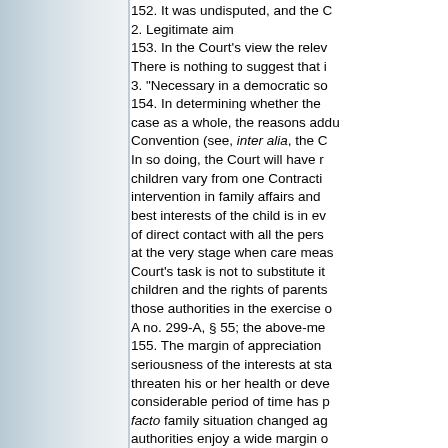152. It was undisputed, and the C
2. Legitimate aim
153. In the Court's view the relev There is nothing to suggest that i
3. "Necessary in a democratic so
154. In determining whether the case as a whole, the reasons addu Convention (see, inter alia, the C In so doing, the Court will have r children vary from one Contracti intervention in family affairs and best interests of the child is in ev of direct contact with all the pers at the very stage when care meas Court's task is not to substitute it children and the rights of parents those authorities in the exercise o A no. 299-A, § 55; the above-me
155. The margin of appreciation seriousness of the interests at sta threaten his or her health or deve considerable period of time has p facto family situation changed ag authorities enjoy a wide margin o respect of any further limitations